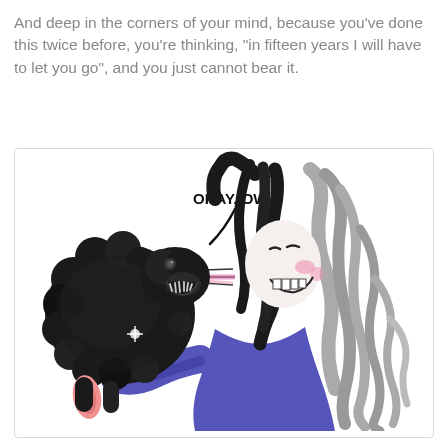And deep in the corners of your mind, because you've done this twice before, you're thinking, "in fifteen years I will have to let you go", and you just cannot bear it.
[Figure (illustration): A comic illustration showing a black fluffy dog licking or bumping its nose against a woman's face. The woman has dark hair with gray highlights and is wearing a blue/purple top. The dog's snout is touching the woman's open mouth/face. A speech bubble reads 'OKAY, OW.' Lines emanate from the woman suggesting impact or surprise. The dog has a pink tongue visible.]